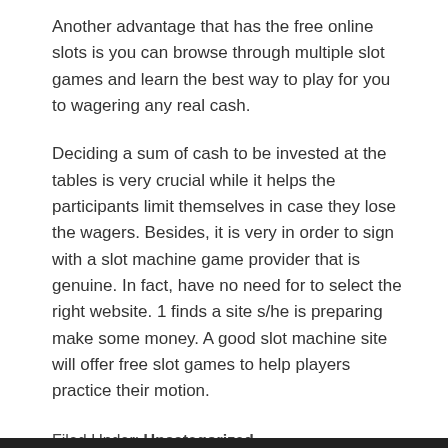Another advantage that has the free online slots is you can browse through multiple slot games and learn the best way to play for you to wagering any real cash.
Deciding a sum of cash to be invested at the tables is very crucial while it helps the participants limit themselves in case they lose the wagers. Besides, it is very in order to sign with a slot machine game provider that is genuine. In fact, have no need for to select the right website. 1 finds a site s/he is preparing make some money. A good slot machine site will offer free slot games to help players practice their motion.
Filed Under: Uncategorized